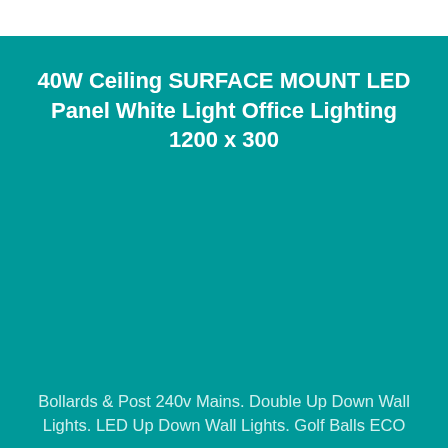40W Ceiling SURFACE MOUNT LED Panel White Light Office Lighting 1200 x 300
Bollards & Post 240v Mains. Double Up Down Wall Lights. LED Up Down Wall Lights. Golf Balls ECO